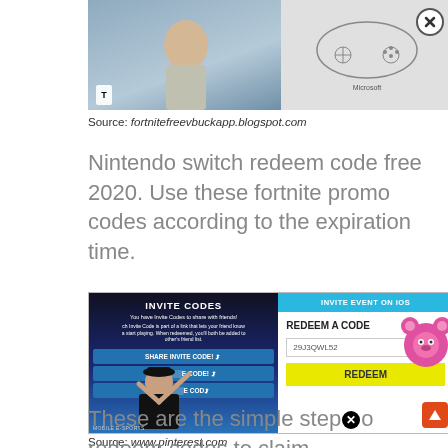[Figure (screenshot): Screenshot showing a gaming product listing with a robot/character figure on the left panel and a controller sketch on the right, with a close/X button overlay]
Source: fortnitefreevbuckapp.blogspot.com
Nintendo switch redeem code free 2020. Use these fortnite promo codes according to the expiration time.
[Figure (screenshot): Fortnite invite codes screen on the left showing 'INVITE CODES' with share buttons and a person pointing up, and 'INVITE EVENT ON IOS' on the right showing 'REDEEM A CODE' with code 29J3QWL52 and a REDEEM button, with a pink bear character]
Source: www.pinterest.com
These are the simple stepⓧo redeem codes to claim